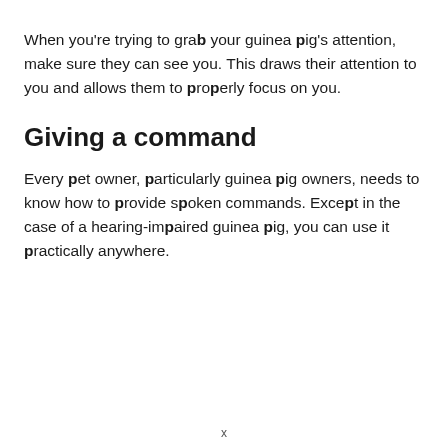When you're trying to grab your guinea pig's attention, make sure they can see you. This draws their attention to you and allows them to properly focus on you.
Giving a command
Every pet owner, particularly guinea pig owners, needs to know how to provide spoken commands. Except in the case of a hearing-impaired guinea pig, you can use it practically anywhere.